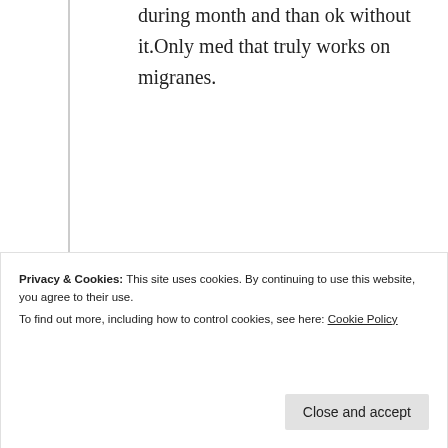during month and than ok without it.Only med that truly works on migranes.
★ Like
↳ Reply
Advertisements
[Figure (other): WordPress advertisement banner: 'Professionally designed sites in less than a week' with WordPress logo]
REPORT THIS AD
Privacy & Cookies: This site uses cookies. By continuing to use this website, you agree to their use.
To find out more, including how to control cookies, see here: Cookie Policy
Close and accept